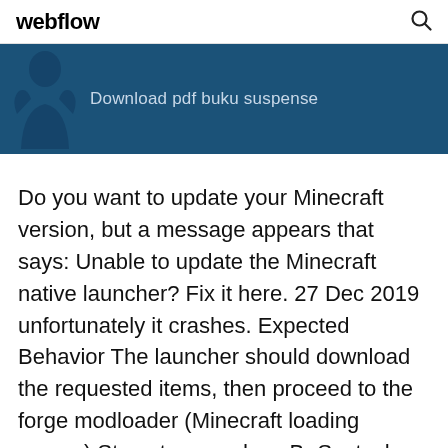webflow
Download pdf buku suspense
Do you want to update your Minecraft version, but a message appears that says: Unable to update the Minecraft native launcher? Fix it here. 27 Dec 2019 unfortunately it crashes. Expected Behavior The launcher should download the requested items, then proceed to the forge modloader (Minecraft loading screen) Steps to reproduce Br Sevtech